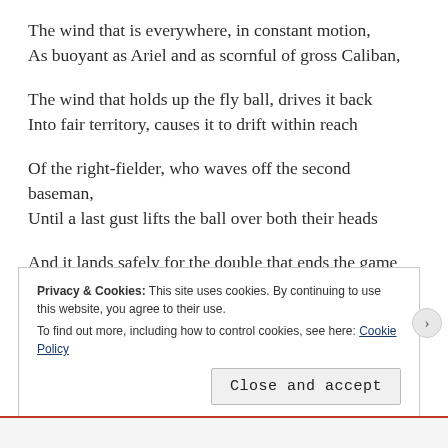The wind that is everywhere, in constant motion,
As buoyant as Ariel and as scornful of gross Caliban,

The wind that holds up the fly ball, drives it back
Into fair territory, causes it to drift within reach

Of the right-fielder, who waves off the second baseman,
Until a last gust lifts the ball over both their heads

And it lands safely for the double that ends the game
In extra innings, costing our team the pennant.
Privacy & Cookies: This site uses cookies. By continuing to use this website, you agree to their use.
To find out more, including how to control cookies, see here: Cookie Policy